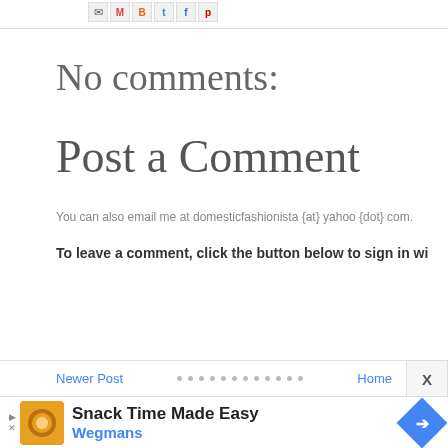[Figure (other): Social share icons: email, Gmail, Blogger, Twitter, Facebook, Pinterest]
No comments:
Post a Comment
You can also email me at domesticfashionista {at} yahoo {dot} com.
To leave a comment, click the button below to sign in wi
[Figure (other): SIGN IN WITH GOOGLE button]
Newer Post • • • • • • • • • • • • Home X
[Figure (other): Advertisement: Snack Time Made Easy - Wegmans]